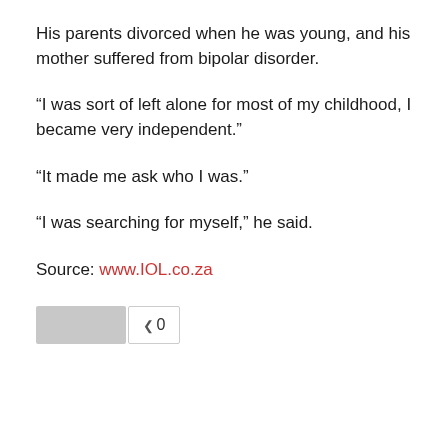His parents divorced when he was young, and his mother suffered from bipolar disorder.
“I was sort of left alone for most of my childhood, I became very independent.”
“It made me ask who I was.”
“I was searching for myself,” he said.
Source: www.IOL.co.za
[Figure (other): A UI widget showing a gray button placeholder and a counter box displaying the number 0]